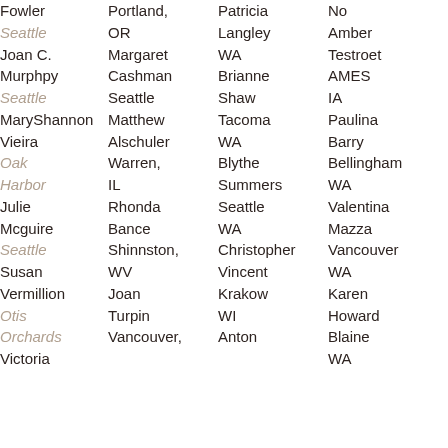| Name | Location | Name | Location |
| --- | --- | --- | --- |
| Fowler | Portland, OR | Coffey | Amber |
| Seattle |  | Langley | Testroet |
| Joan C. Murphpy | Margaret Cashman | WA | AMES |
| Seattle | Seattle | Brianne | IA |
| MaryShannon Vieira | Matthew Alschuler | Shaw | Paulina |
| Oak Harbor | Warren, IL | Tacoma WA | Barry |
| Julie Mcguire | Rhonda Bance | Blythe Summers | Bellingham WA |
| Seattle | Shinnston, WV | Seattle WA | Valentina Mazza |
| Susan Vermillion | Joan Turpin | Christopher Vincent | Vancouver WA |
| Otis Orchards | Vancouver, | Krakow WI | Karen Howard |
| Victoria |  | Anton | Blaine WA |